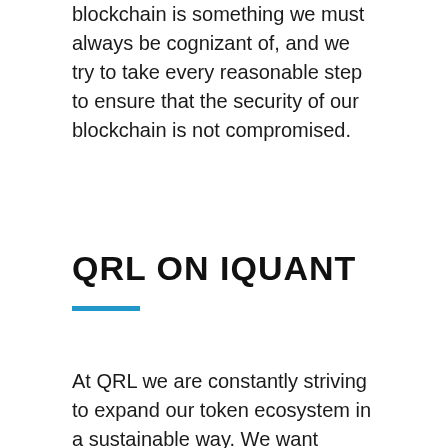blockchain is something we must always be cognizant of, and we try to take every reasonable step to ensure that the security of our blockchain is not compromised.
QRL ON IQUANT
At QRL we are constantly striving to expand our token ecosystem in a sustainable way. We want people all over the world to have the option to trade QRL on an exchange that is local to their region, hopefully in their native language. Currently, QRL is tradable on Bittrex, CoinExchange